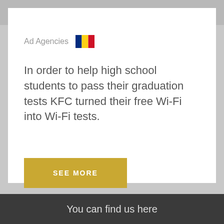KFC Wi-Fi Test   KEYOPTION   MENU
Ad Agencies
In order to help high school students to pass their graduation tests KFC turned their free Wi-Fi into Wi-Fi tests.
SEE MORE
You can find us here